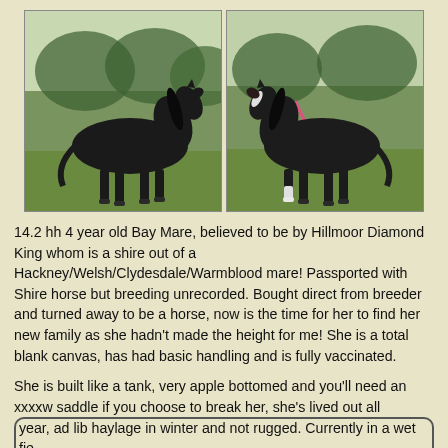[Figure (photo): Two photos of a dark bay/black mare standing in a green field. Left photo shows the horse facing right, right photo shows the horse facing left with a white blaze.]
14.2 hh 4 year old Bay Mare, believed to be by Hillmoor Diamond King whom is a shire out of a Hackney/Welsh/Clydesdale/Warmblood mare! Passported with Shire horse but breeding unrecorded. Bought direct from breeder and turned away to be a horse, now is the time for her to find her new family as she hadn't made the height for me! She is a total blank canvas, has had basic handling and is fully vaccinated.
She is built like a tank, very apple bottomed and you'll need an xxxxw saddle if you choose to break her, she's lived out all year, ad lib haylage in winter and not rugged. Currently in a wet field so bog burnt, she has 3 whites. White markings on her head are from before I had her can only assume it's the rugs/tight fitting headcollars being left on her be...